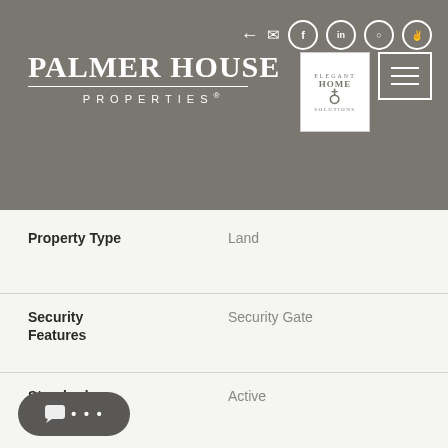Palmer House Properties — Elegant Home Solutions
| Property Field | Value |
| --- | --- |
| Property Type | Land |
| Security Features | Security Gate |
| Standard Status | Active |
| Status | Active |
| Street Name | Northside |
| ...on | None |